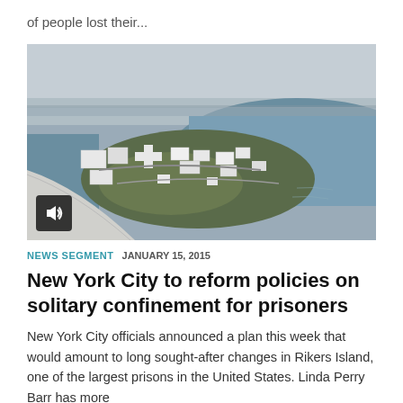of people lost their...
[Figure (photo): Aerial photograph of Rikers Island prison complex surrounded by water, with white prison buildings visible on the island, taken from an airplane window.]
NEWS SEGMENT  JANUARY 15, 2015
New York City to reform policies on solitary confinement for prisoners
New York City officials announced a plan this week that would amount to long sought-after changes in Rikers Island, one of the largest prisons in the United States. Linda Perry Barr has more